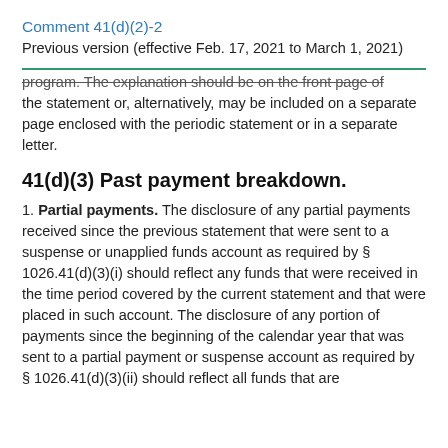Comment 41(d)(2)-2
Previous version (effective Feb. 17, 2021 to March 1, 2021)
program. The explanation should be on the front page of the statement or, alternatively, may be included on a separate page enclosed with the periodic statement or in a separate letter.
41(d)(3) Past payment breakdown.
1. Partial payments. The disclosure of any partial payments received since the previous statement that were sent to a suspense or unapplied funds account as required by § 1026.41(d)(3)(i) should reflect any funds that were received in the time period covered by the current statement and that were placed in such account. The disclosure of any portion of payments since the beginning of the calendar year that was sent to a partial payment or suspense account as required by § 1026.41(d)(3)(ii) should reflect all funds that are